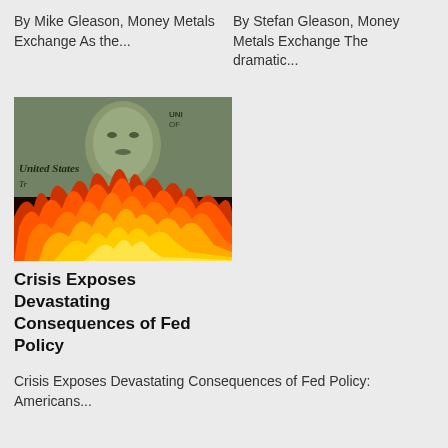By Mike Gleason, Money Metals Exchange As the...
By Stefan Gleason, Money Metals Exchange The dramatic...
[Figure (photo): US dollar bills on fire — burning money image representing crisis and Fed policy consequences]
Crisis Exposes Devastating Consequences of Fed Policy
Crisis Exposes Devastating Consequences of Fed Policy: Americans...